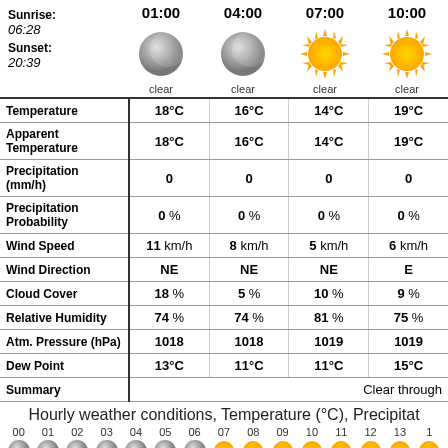Sunrise: 06:28 Sunset: 20:39
|  | 01:00 | 04:00 | 07:00 | 10:00 |
| --- | --- | --- | --- | --- |
| Temperature | 18°C | 16°C | 14°C | 19°C |
| Apparent Temperature | 18°C | 16°C | 14°C | 19°C |
| Precipitation (mm/h) | 0 | 0 | 0 | 0 |
| Precipitation Probability | 0 % | 0 % | 0 % | 0 % |
| Wind Speed | 11 km/h | 8 km/h | 5 km/h | 6 km/h |
| Wind Direction | NE | NE | NE | E |
| Cloud Cover | 18 % | 5 % | 10 % | 9 % |
| Relative Humidity | 74 % | 74 % | 81 % | 75 % |
| Atm. Pressure (hPa) | 1018 | 1018 | 1019 | 1019 |
| Dew Point | 13°C | 11°C | 11°C | 15°C |
| Summary | Clear through |  |  |  |
Hourly weather conditions, Temperature (°C), Precipitat
[Figure (illustration): Row of hourly weather icons (moon/sun) for hours 00-13+]